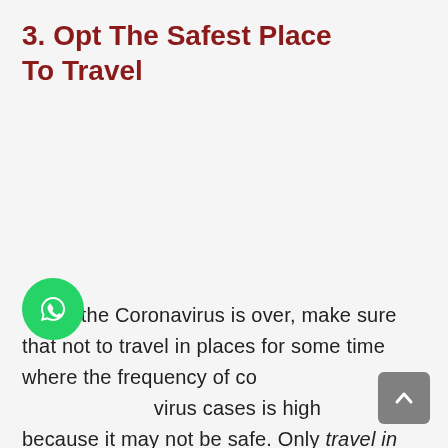3. Opt The Safest Place To Travel
When the Coronavirus is over, make sure that not to travel in places for some time where the frequency of coronavirus cases is high because it may not be safe. Only travel in places which are safe. We really hope that you do not
[Figure (logo): WhatsApp green circular button with phone icon]
[Figure (other): Grey scroll-to-top button with upward chevron arrow]